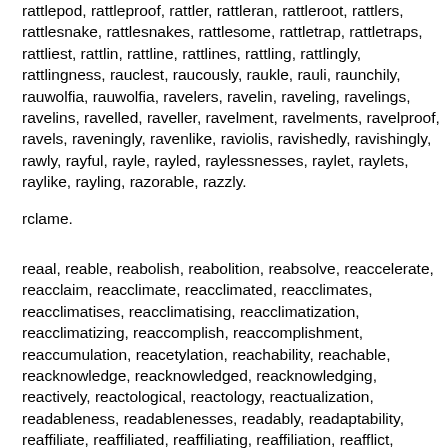rattlepod, rattleproof, rattler, rattleran, rattleroot, rattlers, rattlesnake, rattlesnakes, rattlesome, rattletrap, rattletraps, rattliest, rattlin, rattline, rattlines, rattling, rattlingly, rattlingness, rauclest, raucously, raukle, rauli, raunchily, rauwolfia, rauwolfia, ravelers, ravelin, raveling, ravelings, ravelins, ravelled, raveller, ravelment, ravelments, ravelproof, ravels, raveningly, ravenlike, raviolis, ravishedly, ravishingly, rawly, rayful, rayle, rayled, raylessnesses, raylet, raylets, raylike, rayling, razorable, razzly.
rclame.
reaal, reable, reabolish, reabolition, reabsolve, reaccelerate, reacclaim, reacclimate, reacclimated, reacclimates, reacclimatising, reacclimatising, reacclimatization, reacclimatizing, reaccomplish, reaccomplishment, reaccumulation, reacetylation, reachability, reachable, reacknowledge, reacknowledged, reacknowledging, reactively, reactological, reactology, reactualization, readableness, readablenesses, readably, readaptability, reaffiliate, reaffiliated, reaffiliating, reaffiliation, reafflict, realestate, realgar, realgars, realia, realienate, realienated, realigning, realignment, realignments, realigns, realisabilities, realisations, realise, realised, realiser, realisers, realises, realistically, realisticize, realisticness, realists, realities, realizable, realizablenesses, realizably, realization, realizations,